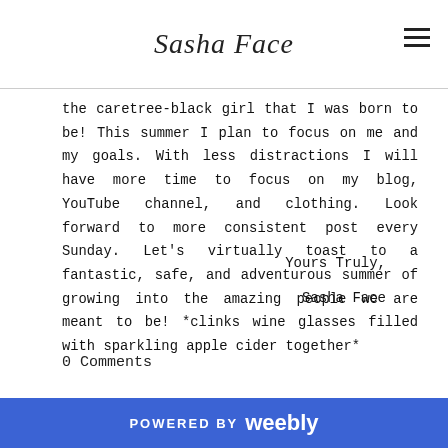Sasha Face
the caretree-black girl that I was born to be! This summer I plan to focus on me and my goals. With less distractions I will have more time to focus on my blog, YouTube channel, and clothing. Look forward to more consistent post every Sunday. Let's virtually toast to a fantastic, safe, and adventurous summer of growing into the amazing people we are meant to be! *clinks wine glasses filled with sparkling apple cider together*
Yours Truly,
Sasha Face
[Figure (other): Blue Tweet button with Twitter bird icon]
0 Comments
POWERED BY weebly